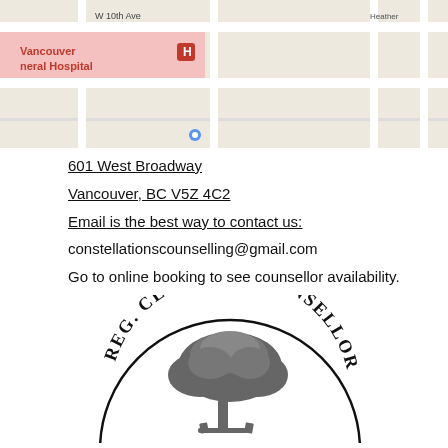[Figure (map): Google Maps screenshot showing W 10th Ave, Vancouver General Hospital, Vancouver City Hall, Heather St, Alberta St, with typical street map styling.]
601 West Broadway
Vancouver, BC V5Z 4C2
Email is the best way to contact us:
constellationscounselling@gmail.com
Go to online booking to see counsellor availability.
[Figure (logo): Registered Clinical Counsellor circular badge logo with a grey tree in the center and text 'REG. CLINICAL COUNSELLOR' arched around the top.]